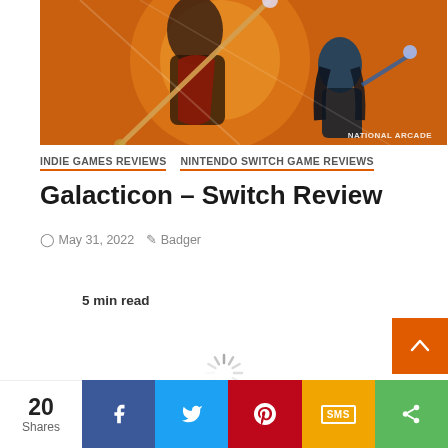[Figure (illustration): Game art illustration showing fantasy/sci-fi characters with orange/warm toned background. Watermark reads NATIONAL ARCADE in bottom right.]
INDIE GAMES REVIEWS   NINTENDO SWITCH GAME REVIEWS
Galacticon – Switch Review
May 31, 2022   Badger
5 min read
[Figure (other): Loading spinner animation]
20 Shares  [Facebook] [Twitter] [Pinterest] [SMS] [Share]